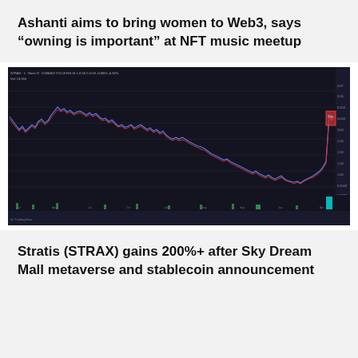Ashanti aims to bring women to Web3, says “owning is important” at NFT music meetup
[Figure (continuous-plot): STRAX/USD cryptocurrency price chart showing a declining trend over time with a sharp spike upward at the far right, displayed on a dark background with red and blue line traces and volume bars at the bottom]
Stratis (STRAX) gains 200%+ after Sky Dream Mall metaverse and stablecoin announcement